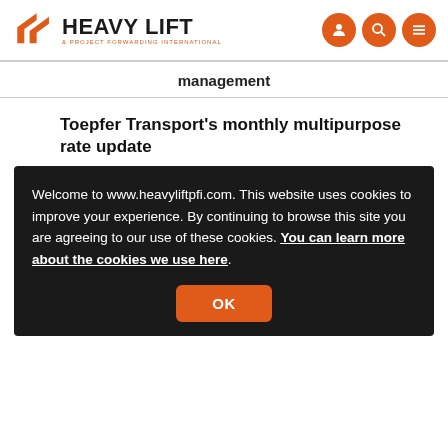HEAVY LIFT & PROJECT FORWARDING INTERNATIONAL
management
Toepfer Transport's monthly multipurpose rate update
Welcome to www.heavyliftpfi.com. This website uses cookies to improve your experience. By continuing to browse this site you are agreeing to our use of these cookies. You can learn more about the cookies we use here.